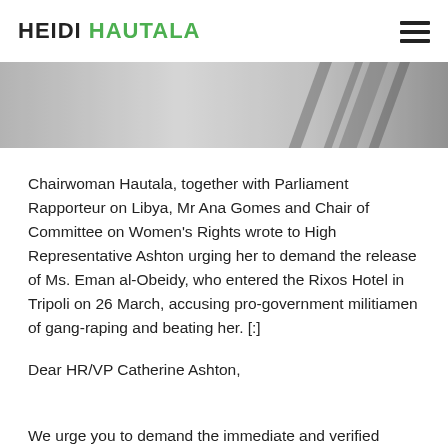HEIDI HAUTALA
[Figure (photo): Black and white partial photo of a person, cropped at the top of the page below the header.]
Chairwoman Hautala, together with Parliament Rapporteur on Libya, Mr Ana Gomes and Chair of Committee on Women’s Rights wrote to High Representative Ashton urging her to demand the release of Ms. Eman al-Obeidy, who entered the Rixos Hotel in Tripoli on 26 March, accusing pro-government militiamen of gang-raping and beating her. [:]
Dear HR/VP Catherine Ashton,
We urge you to demand the immediate and verified